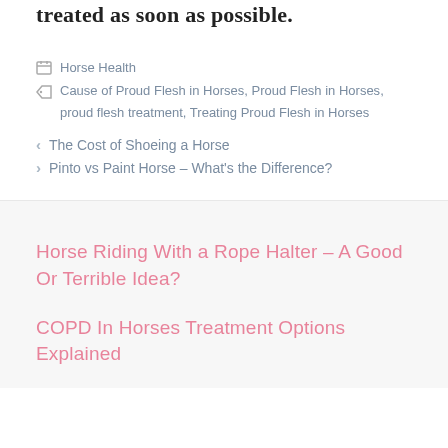treated as soon as possible.
Horse Health
Cause of Proud Flesh in Horses, Proud Flesh in Horses, proud flesh treatment, Treating Proud Flesh in Horses
< The Cost of Shoeing a Horse
> Pinto vs Paint Horse – What's the Difference?
Horse Riding With a Rope Halter – A Good Or Terrible Idea?
COPD In Horses Treatment Options Explained